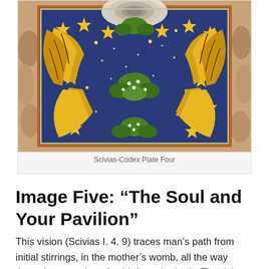[Figure (illustration): Illuminated manuscript illustration from the Scivias-Codex, showing a blue starry background with golden feathered wings forming an oval wreath, green foliage accents, surrounded by an ornate border with rocky/earthy tones.]
Scivias-Codex Plate Four
Image Five: “The Soul and Your Pavilion”
This vision (Scivias I. 4. 9) traces man’s path from initial stirrings, in the mother’s womb, all the way through separation of spirit from the body. The rich ideas portrayed in this vision are captured in three total through il...